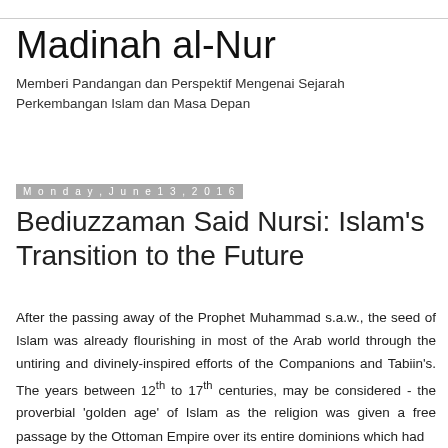Madinah al-Nur
Memberi Pandangan dan Perspektif Mengenai Sejarah Perkembangan Islam dan Masa Depan
Monday, June 13, 2016
Bediuzzaman Said Nursi: Islam's Transition to the Future
After the passing away of the Prophet Muhammad s.a.w., the seed of Islam was already flourishing in most of the Arab world through the untiring and divinely-inspired efforts of the Companions and Tabiin's. The years between 12th to 17th centuries, may be considered - the proverbial 'golden age' of Islam as the religion was given a free passage by the Ottoman Empire over its entire dominions which had